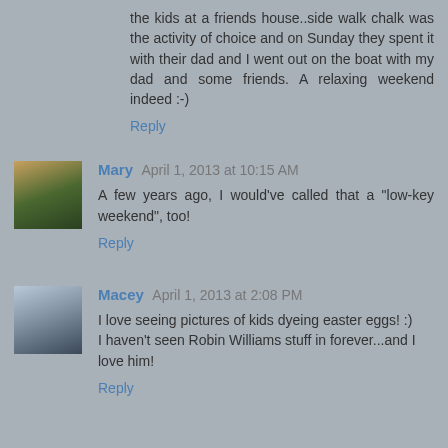the kids at a friends house..side walk chalk was the activity of choice and on Sunday they spent it with their dad and I went out on the boat with my dad and some friends. A relaxing weekend indeed :-)
Reply
Mary  April 1, 2013 at 10:15 AM
A few years ago, I would've called that a "low-key weekend", too!
Reply
Macey  April 1, 2013 at 2:08 PM
I love seeing pictures of kids dyeing easter eggs! :)
I haven't seen Robin Williams stuff in forever...and I love him!
Reply